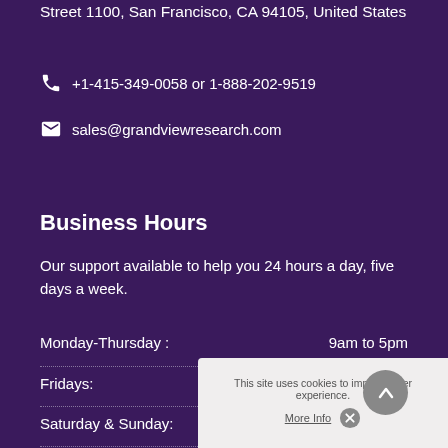California at Grand View Research, Inc. 201 Spear Street 1100, San Francisco, CA 94105, United States
+1-415-349-0058 or 1-888-202-9519
sales@grandviewresearch.com
Business Hours
Our support available to help you 24 hours a day, five days a week.
Monday-Thursday : 9am to 5pm
Fridays: 9am to 4:30pm
Saturday & Sunday:
This site uses cookies to improve user experience. More Info